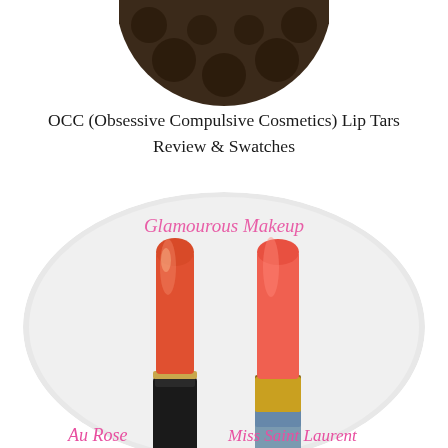[Figure (photo): Partial top of a dark round compact or palette with polka dot pattern, cropped at top of page]
OCC (Obsessive Compulsive Cosmetics) Lip Tars Review & Swatches
[Figure (photo): Two orange-red lipsticks standing upright inside a large circular white compact/mirror. A pink script watermark reads 'Glamourous Makeup'. At the bottom left is script label 'Au Rose' and bottom right 'Miss Saint Laurent'. The left lipstick has a black case, the right has a gold/metallic case.]